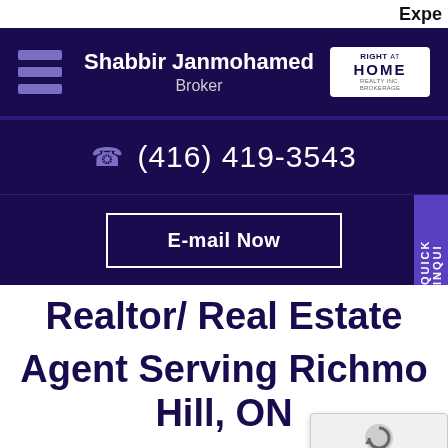Expe
[Figure (screenshot): Navigation bar with hamburger menu, broker name 'Shabbir Janmohamed Broker', and Right at Home Realty logo on dark purple background]
(416) 419-3543
E-mail Now
Realtor/ Real Estate Agent Serving Richmond Hill, ON
BUYING A HOME | FIRST TIME HOME